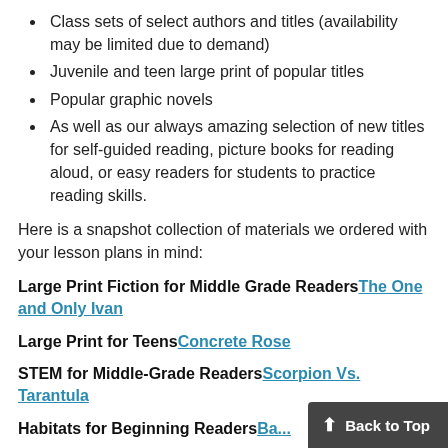Class sets of select authors and titles (availability may be limited due to demand)
Juvenile and teen large print of popular titles
Popular graphic novels
As well as our always amazing selection of new titles for self-guided reading, picture books for reading aloud, or easy readers for students to practice reading skills.
Here is a snapshot collection of materials we ordered with your lesson plans in mind:
Large Print Fiction for Middle Grade ReadersThe One and Only Ivan
Large Print for TeensConcrete Rose
STEM for Middle-Grade ReadersScorpion Vs. Tarantula
Habitats for Beginning ReadersBa...